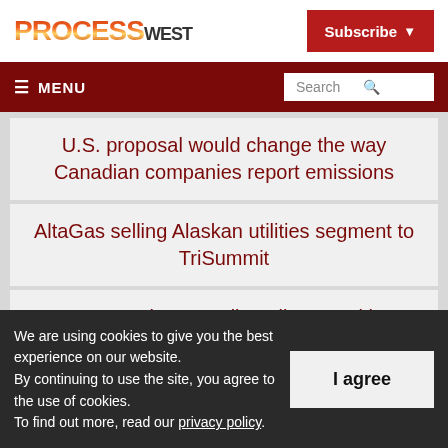PROCESS WEST
U.S. proposal would change the way Canadian companies report emissions
AltaGas selling Alaskan utilities segment to TriSummit
How to make Canadian oil competitive
We are using cookies to give you the best experience on our website.
By continuing to use the site, you agree to the use of cookies.
To find out more, read our privacy policy.